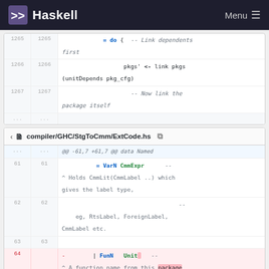Haskell  Menu
[Figure (screenshot): Code diff block showing lines 1265-1267 with Haskell code: = do { -- Link dependents first, pkgs' <- link pkgs (unitDepends pkg_cfg), -- Now link the package itself]
compiler/GHC/StgToCmm/ExtCode.hs
[Figure (screenshot): Code diff block for compiler/GHC/StgToCmm/ExtCode.hs showing lines 61-64 with diff: @@ -61,7 +61,7 @@ data Named, = VarN CmmExpr --, ^ Holds CmmLit(CmmLabel ..) which gives the label type,, -- eg, RtsLabel, ForeignLabel, CmmLabel etc., (blank line 63), deleted: | FunN Unit --, ^ A function name from this package (highlighted), added: | FunN UnitId]